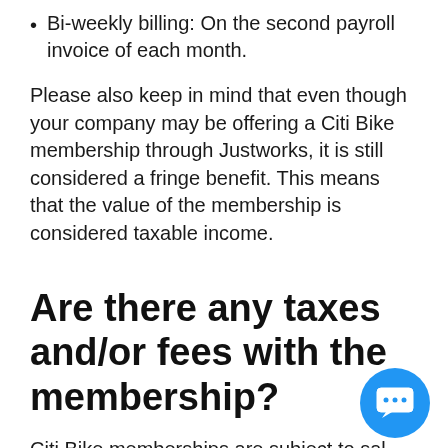Bi-weekly billing: On the second payroll invoice of each month.
Please also keep in mind that even though your company may be offering a Citi Bike membership through Justworks, it is still considered a fringe benefit. This means that the value of the membership is considered taxable income.
Are there any taxes and/or fees with the membership?
Citi Bike memberships are subject to sales tax, which will be charged to the employer. The amount of...